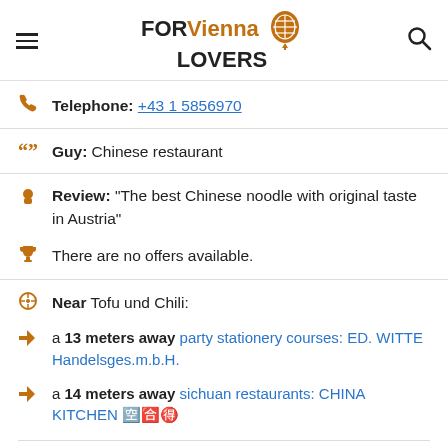FORVienna LOVERS
Telephone: +43 1 5856970
Guy: Chinese restaurant
Review: "The best Chinese noodle with original taste in Austria"
There are no offers available.
Near Tofu und Chili:
a 13 meters away party stationery courses: ED. WITTE Handelsges.m.b.H.
a 14 meters away sichuan restaurants: CHINA KITCHEN 🈳🈴🉐
Are you the owner of the business? PROMOTE IT!